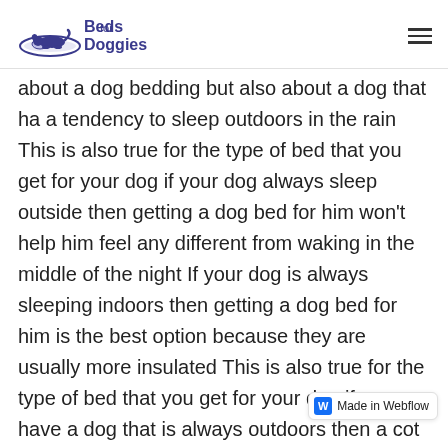Beds for Doggies
about a dog bedding but also about a dog that ha a tendency to sleep outdoors in the rain This is also true for the type of bed that you get for your dog if your dog always sleep outside then getting a dog bed for him won't help him feel any different from waking in the middle of the night If your dog is always sleeping indoors then getting a dog bed for him is the best option because they are usually more insulated This is also true for the type of bed that you get for your dog if you have a dog that is always outdoors then a cot bed might be the best option because they tend to be more comfortable also, some cot bed are also good for warm weather condition and are an excellent choice if you live in a place that is often covered by a strong weather Then there are also [badge] that can get for your dog that can help you keep your dog